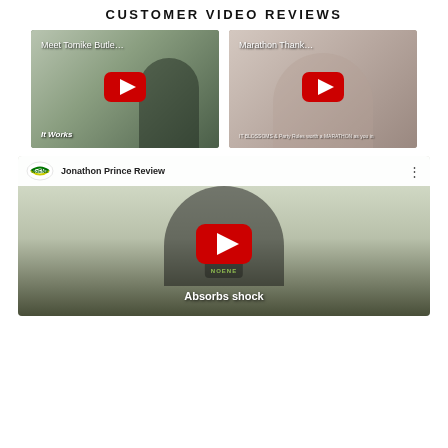CUSTOMER VIDEO REVIEWS
[Figure (screenshot): YouTube video thumbnail: Meet Tomike Butle... - It Works, with red YouTube play button overlay]
[Figure (screenshot): YouTube video thumbnail: Marathon Thank... with red YouTube play button overlay]
[Figure (screenshot): YouTube video embed: Jonathon Prince Review - NOENE logo, man in black NOENE t-shirt, text 'Absorbs shock', red YouTube play button overlay]